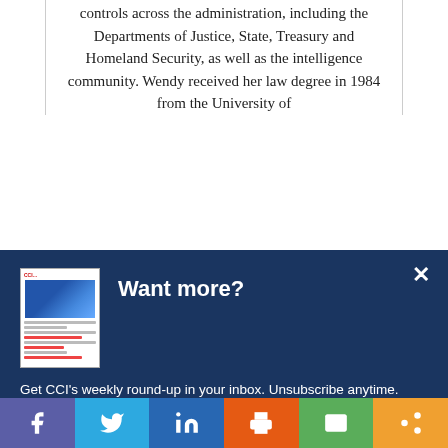controls across the administration, including the Departments of Justice, State, Treasury and Homeland Security, as well as the intelligence community. Wendy received her law degree in 1984 from the University of
[Figure (screenshot): Modal popup with dark blue background. Contains a newsletter thumbnail image on the left, 'Want more?' heading in white bold text, a close X button top right, body text 'Get CCI's weekly round-up in your inbox. Unsubscribe anytime.' in white, and a white button/input field reading 'Let's do this!']
[Figure (infographic): Social media sharing bar at the bottom with six buttons: Facebook (purple), Twitter (blue), LinkedIn (dark blue), Print (orange), Email (green), Share (orange/gold)]